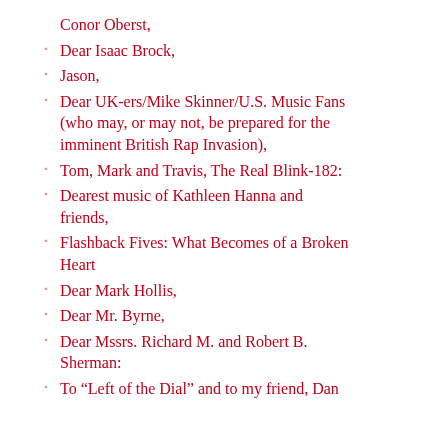Conor Oberst,
Dear Isaac Brock,
Jason,
Dear UK-ers/Mike Skinner/U.S. Music Fans (who may, or may not, be prepared for the imminent British Rap Invasion),
Tom, Mark and Travis, The Real Blink-182:
Dearest music of Kathleen Hanna and friends,
Flashback Fives: What Becomes of a Broken Heart
Dear Mark Hollis,
Dear Mr. Byrne,
Dear Mssrs. Richard M. and Robert B. Sherman:
To “Left of the Dial” and to my friend, Dan